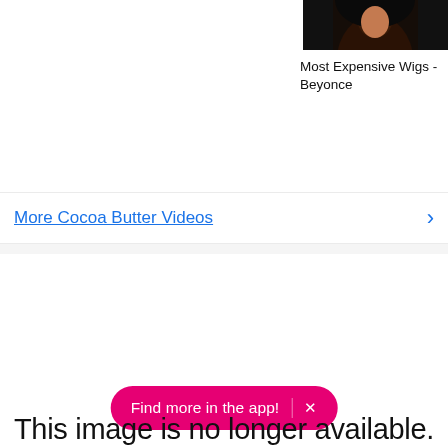[Figure (photo): Thumbnail of a person with dark hair against a dark background, partially visible in upper right corner]
Most Expensive Wigs - Beyonce
More Cocoa Butter Videos >
[Figure (other): Find more in the app! promotional banner with close button]
This image is no longer available.